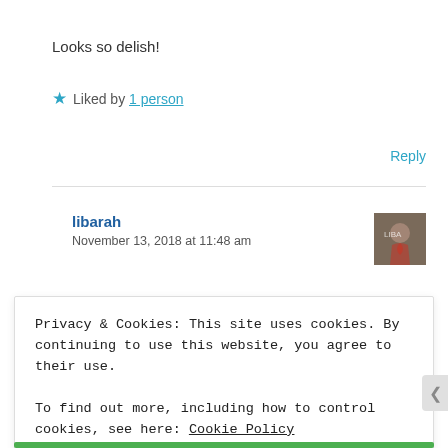Looks so delish!
★ Liked by 1 person
Reply
libarah
November 13, 2018 at 11:48 am
Privacy & Cookies: This site uses cookies. By continuing to use this website, you agree to their use.
To find out more, including how to control cookies, see here: Cookie Policy
Close and accept